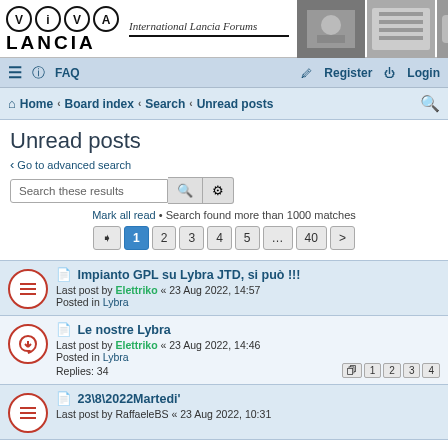Viva Lancia — International Lancia Forums
≡  FAQ   Register  Login
Home › Board index › Search › Unread posts
Unread posts
‹ Go to advanced search
Search these results
Mark all read • Search found more than 1000 matches
Pagination: 1 2 3 4 5 ... 40
Impianto GPL su Lybra JTD, si può !!!
Last post by Elettriko « 23 Aug 2022, 14:57
Posted in Lybra
Le nostre Lybra
Last post by Elettriko « 23 Aug 2022, 14:46
Posted in Lybra
Replies: 34
23\8\2022Martedi'
Last post by RaffaeleBS « 23 Aug 2022, 10:31